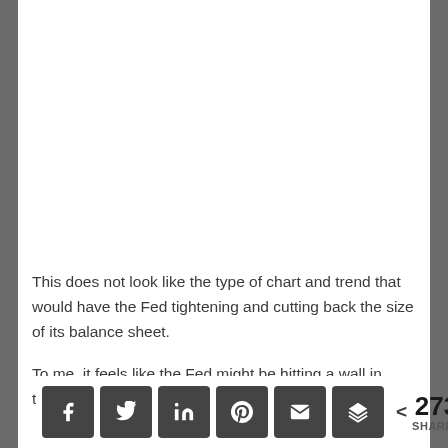This does not look like the type of chart and trend that would have the Fed tightening and cutting back the size of its balance sheet.
To me, it feels like the Fed might be hitting a wall in terms of its ability to raise short term rates two more
< 273 SHARES [Facebook] [Twitter] [LinkedIn] [Pinterest] [Email] [Buffer]